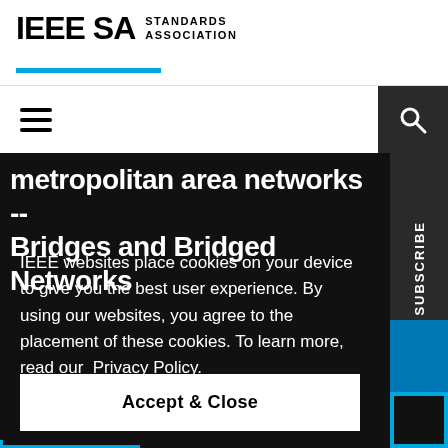[Figure (logo): IEEE SA Standards Association logo with cyan underline bar]
[Figure (infographic): Navigation bar with hamburger menu icon on left and dark search box with magnifying glass icon on right]
metropolitan area networks -- Bridges and Bridged Networks
IEEE websites place cookies on your device to give you the best user experience. By using our websites, you agree to the placement of these cookies. To learn more, read our  Privacy Policy.
Accept & Close